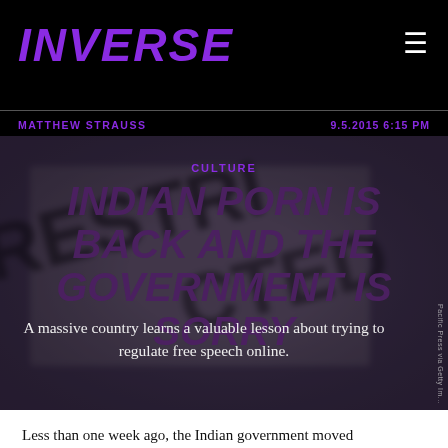INVERSE
MATTHEW STRAUSS  9.5.2015 6:15 PM
[Figure (photo): Blurred image of a rubber stamp reading RESTRICTED on a document, dark moody background]
CULTURE
INDIAN PORN IS BACK AND THE GOVERNMENT IS SORRY
A massive country learns a valuable lesson about trying to regulate free speech online.
Pacific Press via Getty Im...
Less than one week ago, the Indian government moved